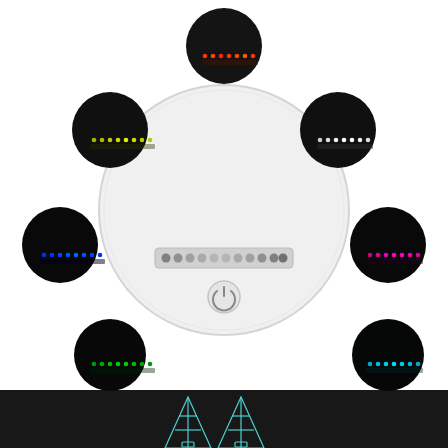[Figure (photo): Product photo of a white circular LED light base with 7 color modes shown in surrounding dark circles (yellow-green, red/orange, white, blue, pink/magenta, green, teal/cyan), and a remote control. Below the main product image is text describing the product, and at the bottom is a dark banner showing an illuminated acrylic LED display.]
White Base+7 colors touch+Remote Control
(More colors changing by remote control)